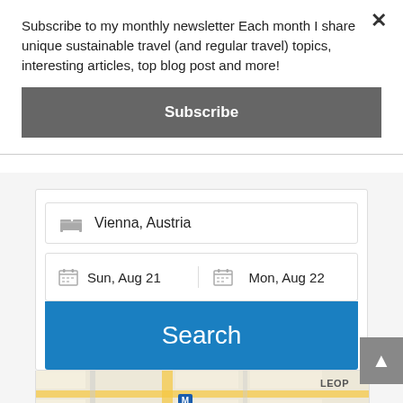Subscribe to my monthly newsletter Each month I share unique sustainable travel (and regular travel) topics, interesting articles, top blog post and more!
Subscribe
[Figure (screenshot): Hotel booking search widget with destination 'Vienna, Austria', check-in 'Sun, Aug 21', check-out 'Mon, Aug 22', and a blue Search button. Below is a partial map showing a metro (M) marker and 'LEOP' label.]